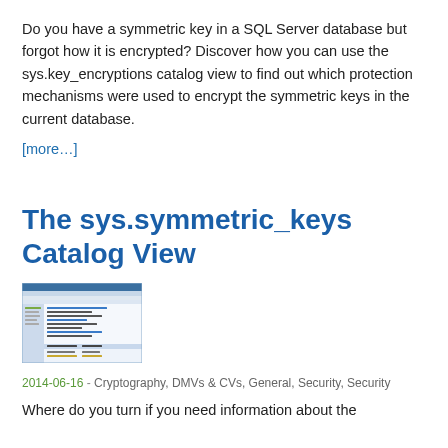Do you have a symmetric key in a SQL Server database but forgot how it is encrypted? Discover how you can use the sys.key_encryptions catalog view to find out which protection mechanisms were used to encrypt the symmetric keys in the current database.
[more…]
The sys.symmetric_keys Catalog View
[Figure (screenshot): Screenshot of SQL Server Management Studio showing symmetric keys query]
2014-06-16 - Cryptography, DMVs & CVs, General, Security, Security
Where do you turn if you need information about the